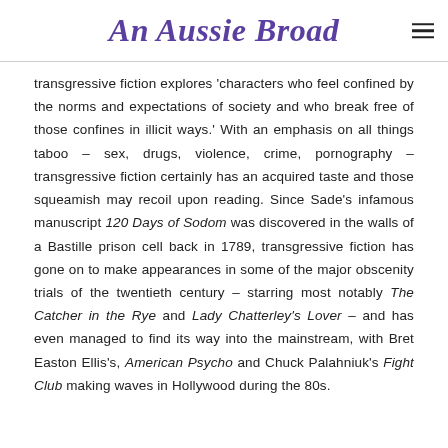An Aussie Broad
transgressive fiction explores 'characters who feel confined by the norms and expectations of society and who break free of those confines in illicit ways.' With an emphasis on all things taboo – sex, drugs, violence, crime, pornography – transgressive fiction certainly has an acquired taste and those squeamish may recoil upon reading. Since Sade's infamous manuscript 120 Days of Sodom was discovered in the walls of a Bastille prison cell back in 1789, transgressive fiction has gone on to make appearances in some of the major obscenity trials of the twentieth century – starring most notably The Catcher in the Rye and Lady Chatterley's Lover – and has even managed to find its way into the mainstream, with Bret Easton Ellis's, American Psycho and Chuck Palahniuk's Fight Club making waves in Hollywood during the 80s.